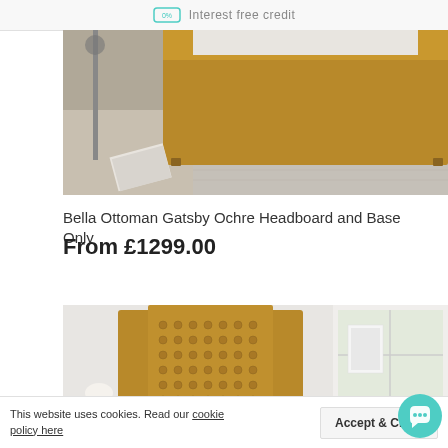Interest free credit
[Figure (photo): Close-up photo of an ochre/mustard yellow upholstered ottoman bed base on a grey carpet with papers on the floor]
Bella Ottoman Gatsby Ochre Headboard and Base Only
From £1299.00
[Figure (photo): Photo of a mustard yellow tufted winged headboard bed with white pillows against a white wall, with a lamp and flowers visible]
This website uses cookies. Read our cookie policy here
Accept & Close